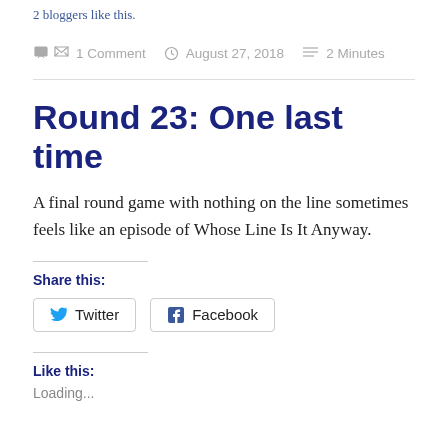2 bloggers like this.
1 Comment   August 27, 2018   2 Minutes
Round 23: One last time
A final round game with nothing on the line sometimes feels like an episode of Whose Line Is It Anyway.
Share this:
Twitter   Facebook
Like this:
Loading...